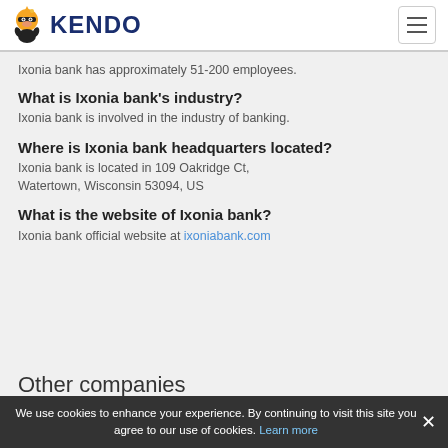KENDO
Ixonia bank has approximately 51-200 employees.
What is Ixonia bank's industry?
Ixonia bank is involved in the industry of banking.
Where is Ixonia bank headquarters located?
Ixonia bank is located in 109 Oakridge Ct, Watertown, Wisconsin 53094, US
What is the website of Ixonia bank?
Ixonia bank official website at ixoniabank.com
Other companies
acb brite
We use cookies to enhance your experience. By continuing to visit this site you agree to our use of cookies. Learn more